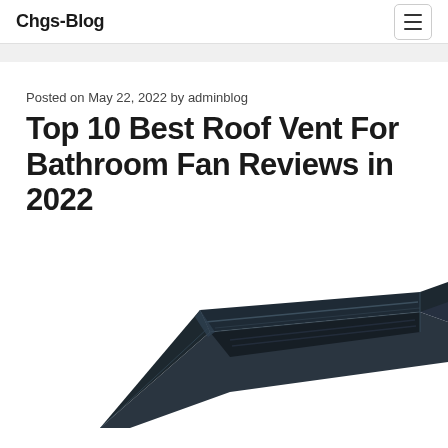Chgs-Blog
Posted on May 22, 2022 by adminblog
Top 10 Best Roof Vent For Bathroom Fan Reviews in 2022
[Figure (photo): A dark-colored roof vent cap for bathroom fan, photographed from above at an angle, showing its wedge/triangular aerodynamic shape with a black plastic housing. The image is partially cropped at the bottom of the page.]